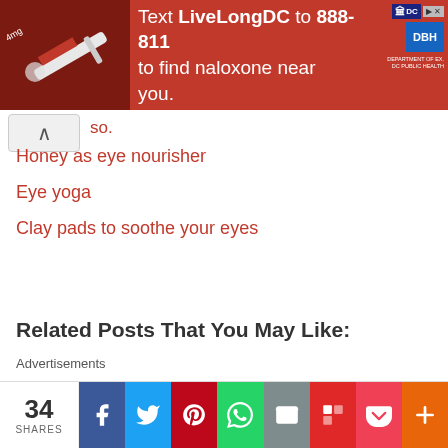[Figure (other): Red advertisement banner: Text LiveLongDC to 888-811 to find naloxone near you. DC and DBH logos shown on right.]
so.
Honey as eye nourisher
Eye yoga
Clay pads to soothe your eyes
Related Posts That You May Like:
Advertisements
34 SHARES | Facebook | Twitter | Pinterest | WhatsApp | Email | Flipboard | Pocket | More